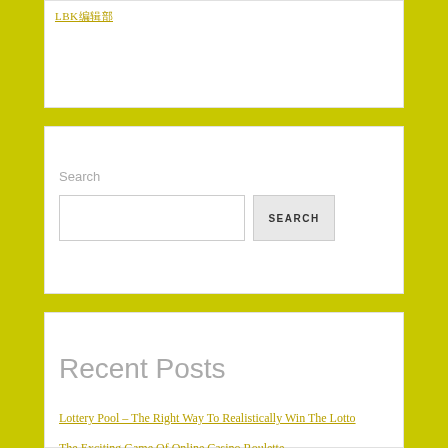LBK编辑部
Search
SEARCH
Recent Posts
Lottery Pool – The Right Way To Realistically Win The Lotto
The Exciting Game Of Online Casino Roulette